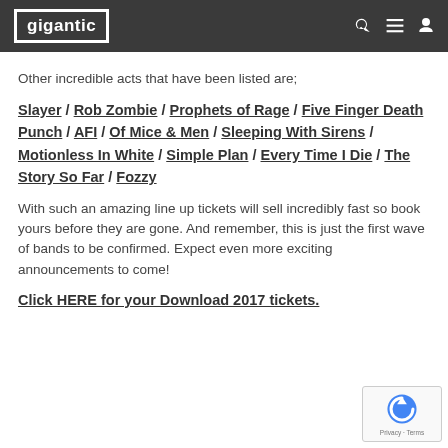gigantic
Other incredible acts that have been listed are;
Slayer / Rob Zombie / Prophets of Rage / Five Finger Death Punch / AFI / Of Mice & Men / Sleeping With Sirens / Motionless In White / Simple Plan / Every Time I Die / The Story So Far / Fozzy
With such an amazing line up tickets will sell incredibly fast so book yours before they are gone. And remember, this is just the first wave of bands to be confirmed. Expect even more exciting announcements to come!
Click HERE for your Download 2017 tickets.